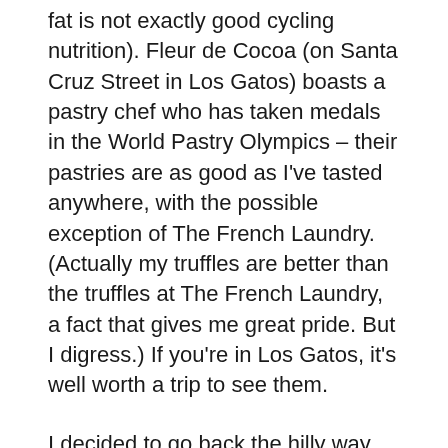fat is not exactly good cycling nutrition). Fleur de Cocoa (on Santa Cruz Street in Los Gatos) boasts a pastry chef who has taken medals in the World Pastry Olympics – their pastries are as good as I've tasted anywhere, with the possible exception of The French Laundry. (Actually my truffles are better than the truffles at The French Laundry, a fact that gives me great pride. But I digress.) If you're in Los Gatos, it's well worth a trip to see them.
I decided to go back the hilly way, up the back side of Mt. Eden, which is appallingly steep for a fair distance. (Another of those 13-18% grade sections, except longer than on Pierce Road.) I didn't exactly power up it, but I didn't stop either, and I spotted two other cyclists stopping to rest on the way up. It wasn't any worse than some of